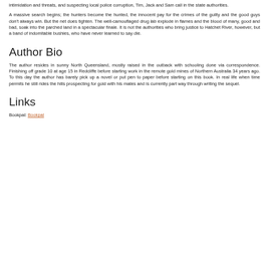intimidation and threats, and suspecting local police corruption, Tim, Jack and Sam call in the state authorities.
A massive search begins; the hunters become the hunted, the innocent pay for the crimes of the guilty and the good guys don't always win. But the net does tighten. The well-camouflaged drug lab explode in flames and the blood of many, good and bad, soak into the parched land in a spectacular finale. It is not the authorities who bring justice to Hatchet River, however, but a band of indomitable bushies, who have never learned to say die.
Author Bio
The author resides in sunny North Queensland, mostly raised in the outback with schooling done via correspondence. Finishing off grade 10 at age 15 in Redcliffe before starting work in the remote gold mines of Northern Australia 34 years ago. To this day the author has barely pick up a novel or put pen to paper before starting on this book. In real life when time permits he still rides the hills prospecting for gold with his mates and is currently part way through writing the sequel.
Links
Bookpal: Bookpal